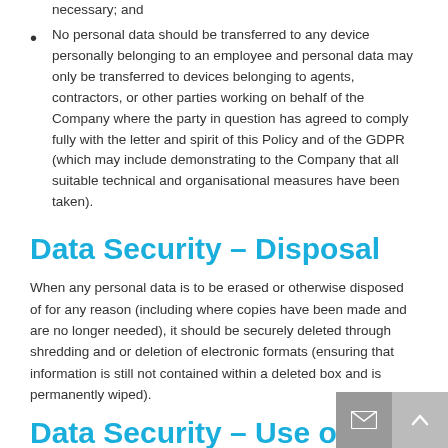approval is given, and for no longer than is absolutely necessary; and
No personal data should be transferred to any device personally belonging to an employee and personal data may only be transferred to devices belonging to agents, contractors, or other parties working on behalf of the Company where the party in question has agreed to comply fully with the letter and spirit of this Policy and of the GDPR (which may include demonstrating to the Company that all suitable technical and organisational measures have been taken).
Data Security – Disposal
When any personal data is to be erased or otherwise disposed of for any reason (including where copies have been made and are no longer needed), it should be securely deleted through shredding and or deletion of electronic formats (ensuring that information is still not contained within a deleted box and is permanently wiped).
Data Security – Use of